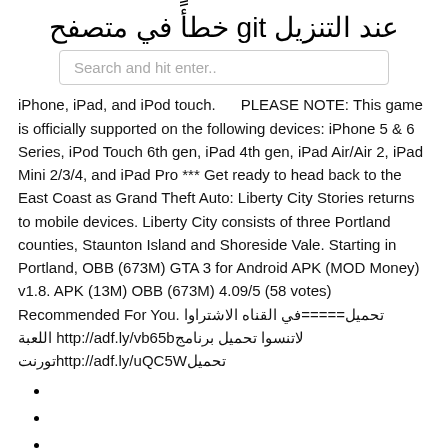عند التنزيل git خطأً في متصفح
Search and hit enter..
iPhone, iPad, and iPod touch.      PLEASE NOTE: This game is officially supported on the following devices: iPhone 5 & 6 Series, iPod Touch 6th gen, iPad 4th gen, iPad Air/Air 2, iPad Mini 2/3/4, and iPad Pro *** Get ready to head back to the East Coast as Grand Theft Auto: Liberty City Stories returns to mobile devices. Liberty City consists of three Portland counties, Staunton Island and Shoreside Vale. Starting in Portland, OBB (673M) GTA 3 for Android APK (MOD Money) v1.8. APK (13M) OBB (673M) 4.09/5 (58 votes) Recommended For You. تحميل=====في القناه الاشتراوا لاتنسوا تحميل برنامجhttp://adf.ly/vb65b اللعبة تحميلhttp://adf.ly/uQC5Wتورنت